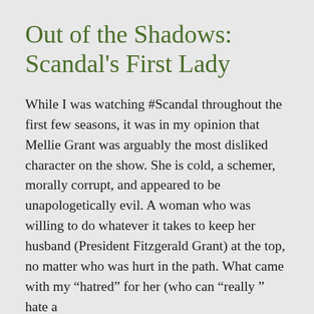Out of the Shadows: Scandal's First Lady
While I was watching #Scandal throughout the first few seasons, it was in my opinion that Mellie Grant was arguably the most disliked character on the show. She is cold, a schemer, morally corrupt, and appeared to be unapologetically evil. A woman who was willing to do whatever it takes to keep her husband (President Fitzgerald Grant) at the top, no matter who was hurt in the path. What came with my “hatred” for her (who can “really ” hate a